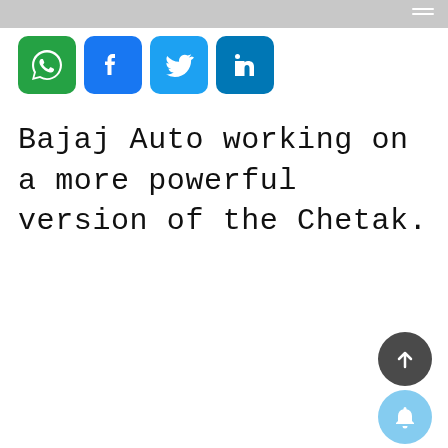[Figure (infographic): Social share icons for WhatsApp (green), Facebook (blue), Twitter (light blue), LinkedIn (dark blue)]
Bajaj Auto working on a more powerful version of the Chetak.